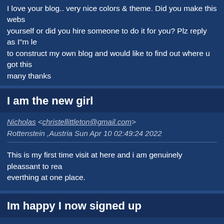I love your blog.. very nice colors & theme. Did you make this website yourself or did you hire someone to do it for you? Plz reply as I"m looking to construct my own blog and would like to find out where u got this from. many thanks
I am the new girl
Nicholas <christellittleton@gmail.com> Rottenstein ,Austria Sun Apr 10 02:49:24 2022
This is my first time visit at here and i am genuinely pleassant to read everthing at one place.
Im happy I now signed up
Lydia <celsagreenwell@t-online.de> Arlington Heights ,United States Sun Apr 10 02:44:16 2022
Amazing! This blog looks exactly like my old one! It"s on a entirely different topic but it has pretty much the same page layout and design. choice of colors!